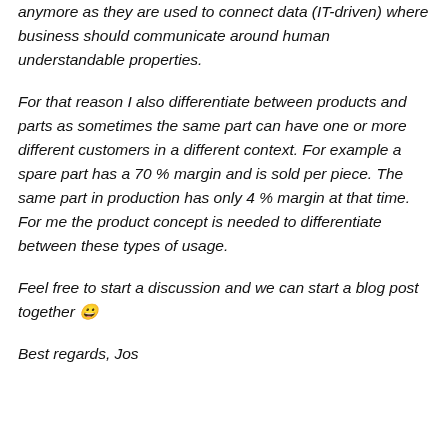anymore as they are used to connect data (IT-driven) where business should communicate around human understandable properties.
For that reason I also differentiate between products and parts as sometimes the same part can have one or more different customers in a different context. For example a spare part has a 70 % margin and is sold per piece. The same part in production has only 4 % margin at that time. For me the product concept is needed to differentiate between these types of usage.
Feel free to start a discussion and we can start a blog post together 🙂
Best regards, Jos